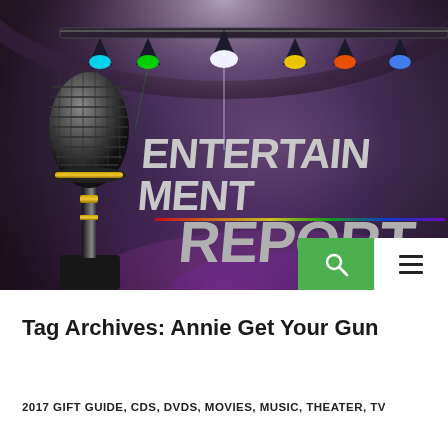[Figure (photo): Entertainment Report banner image with large vintage microphone on left, stage lighting with colorful lights on a truss at top, and bold text reading ENTERTAINMENT REPORT on a dark purple/brown stage background]
Tag Archives: Annie Get Your Gun
2017 GIFT GUIDE, CDS, DVDS, MOVIES, MUSIC, THEATER, TV